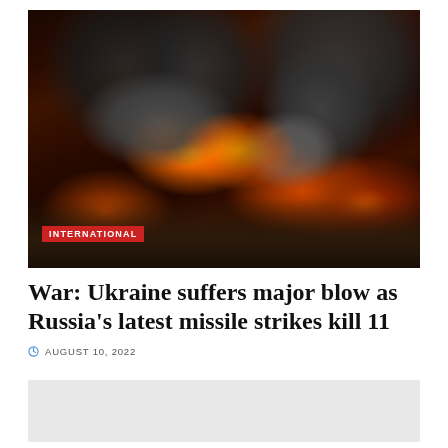[Figure (photo): Large photograph showing massive fire and dark smoke clouds rising from a destroyed area, with bright orange and yellow flames visible amid ruins. Scene appears to be a conflict zone with extensive destruction.]
War: Ukraine suffers major blow as Russia's latest missile strikes kill 11
AUGUST 10, 2022
[Figure (photo): Partial bottom image placeholder, light grey background, partially visible.]